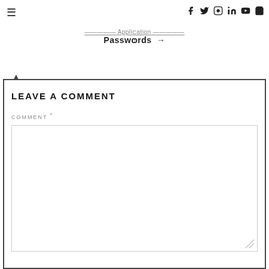≡  f  🐦  📷  in  ▶  🛍
· · · · · · · Application Passwords →
LEAVE A COMMENT
COMMENT *
[Figure (other): Empty comment textarea input field]